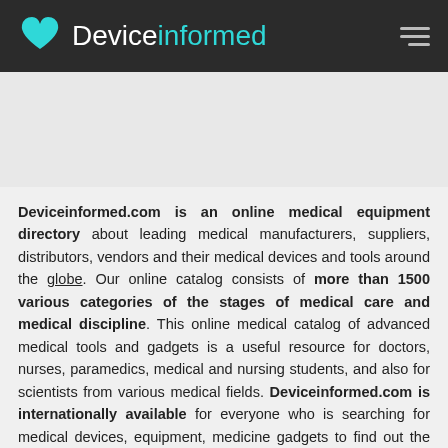Deviceinformed
Deviceinformed.com is an online medical equipment directory about leading medical manufacturers, suppliers, distributors, vendors and their medical devices and tools around the globe. Our online catalog consists of more than 1500 various categories of the stages of medical care and medical discipline. This online medical catalog of advanced medical tools and gadgets is a useful resource for doctors, nurses, paramedics, medical and nursing students, and also for scientists from various medical fields. Deviceinformed.com is internationally available for everyone who is searching for medical devices, equipment, medicine gadgets to find out the price or nearby distributor of a required medical company.